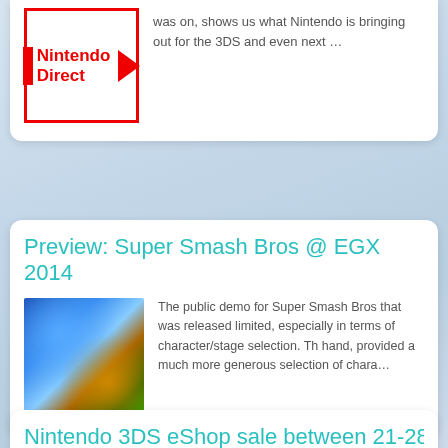[Figure (logo): Nintendo Direct logo: red rectangle border with red vertical bar, text 'Nintendo Direct' in red bold, and red right-pointing arrow]
was on, shows us what Nintendo is bringing out for the 3DS and even next …
Preview: Super Smash Bros @ EGX 2014
[Figure (photo): Screenshot from Super Smash Bros showing characters including Pit with bow and arrow against a colorful background with Luigi and other fighters]
The public demo for Super Smash Bros that was released limited, especially in terms of character/stage selection. Th hand, provided a much more generous selection of chara…
Nintendo 3DS eShop sale between 21-28th August